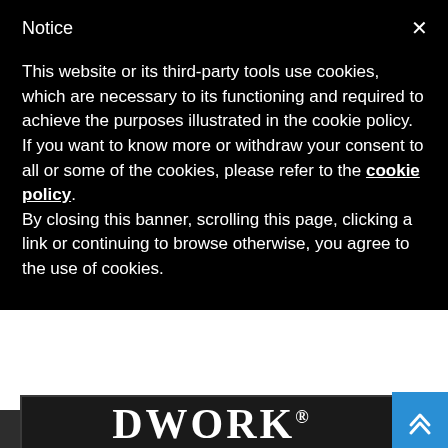Notice
This website or its third-party tools use cookies, which are necessary to its functioning and required to achieve the purposes illustrated in the cookie policy. If you want to know more or withdraw your consent to all or some of the cookies, please refer to the cookie policy.
By closing this banner, scrolling this page, clicking a link or continuing to browse otherwise, you agree to the use of cookies.
[Figure (logo): DWORK logo with registered trademark symbol on dark background with rounded rectangle border]